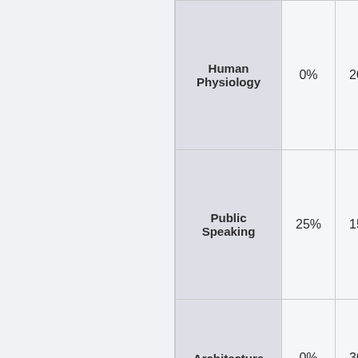| Subject | Col1 | Col2 |
| --- | --- | --- |
| Human Physiology | 0% | 20% |
| Public Speaking | 25% | 15% |
| Architecture | 0% | 30% |
| Library Science | 25% | 25% |